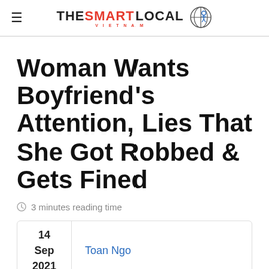THE SMART LOCAL VIETNAM
Woman Wants Boyfriend's Attention, Lies That She Got Robbed & Gets Fined
3 minutes reading time
| Date | Author |
| --- | --- |
| 14 Sep 2021 | Toan Ngo |